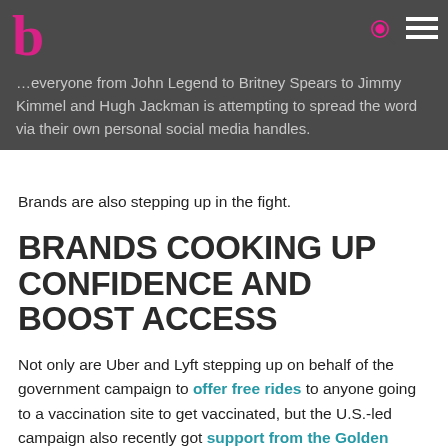everyone from John Legend to Britney Spears to Jimmy Kimmel and Hugh Jackman is attempting to spread the word via their own personal social media handles.
Brands are also stepping up in the fight.
BRANDS COOKING UP CONFIDENCE AND BOOST ACCESS
Not only are Uber and Lyft stepping up on behalf of the government campaign to offer free rides to anyone going to a vaccination site to get vaccinated, but the U.S.-led campaign also recently got support from the Golden Arches.